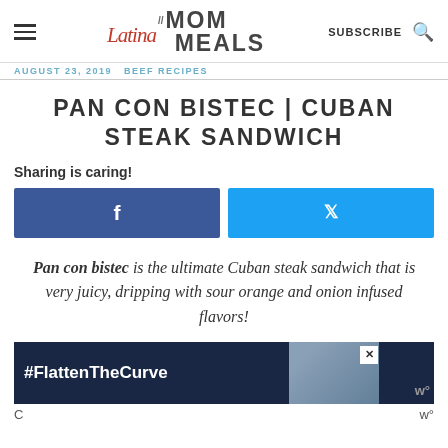Latina Mom Meals — SUBSCRIBE
AUGUST 23, 2019 BEEF RECIPES
PAN CON BISTEC | CUBAN STEAK SANDWICH
Sharing is caring!
[Figure (other): Facebook share button (blue) and Twitter share button (cyan) side by side]
Pan con bistec is the ultimate Cuban steak sandwich that is very juicy, dripping with sour orange and onion infused flavors!
[Figure (other): Advertisement banner: #FlattenTheCurve with sink/handwashing image and close button]